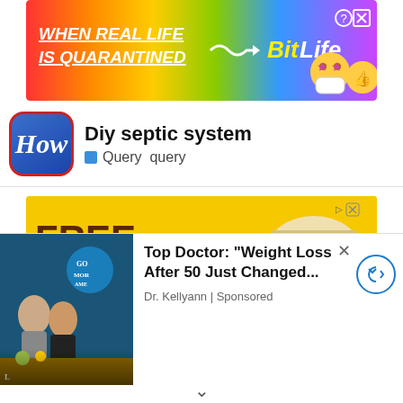[Figure (screenshot): BitLife app advertisement banner with rainbow gradient background, text 'WHEN REAL LIFE IS QUARANTINED' and BitLife logo with emoji mascots]
[Figure (screenshot): HOW logo (blue rounded rectangle with white italic H) next to title 'Diy septic system' and subtitle 'Query query' with blue square bullet]
[Figure (screenshot): Yellow FREE DELIVERY food delivery advertisement with truck illustration, fried chicken food photo, 'GET YOUR FLAVOR DELIVERED!' text and 'Order Now' button]
[Figure (screenshot): Popup overlay ad showing TV show thumbnail on left, text 'Top Doctor: Weight Loss After 50 Just Changed...' by Dr. Kellyann with Sponsored label, close button X, and circular arrow navigation button]